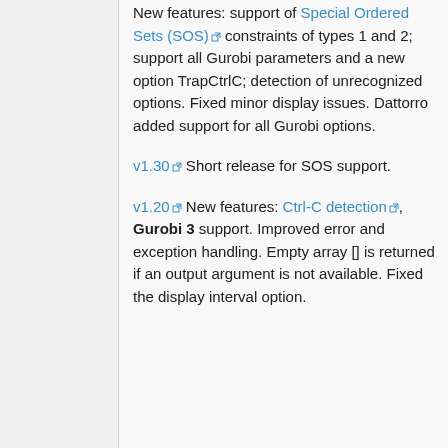New features: support of Special Ordered Sets (SOS) constraints of types 1 and 2; support all Gurobi parameters and a new option TrapCtrlC; detection of unrecognized options. Fixed minor display issues. Dattorro added support for all Gurobi options.
v1.30 Short release for SOS support.
v1.20 New features: Ctrl-C detection, Gurobi 3 support. Improved error and exception handling. Empty array [] is returned if an output argument is not available. Fixed the display interval option.